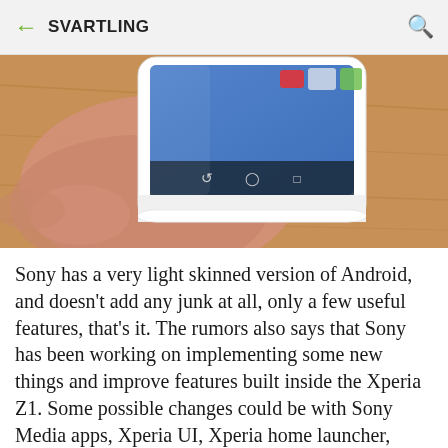SVARTLING
[Figure (photo): Close-up photo of a person holding a white Sony Xperia smartphone showing the bottom navigation bar with back, home, and recent apps buttons on a blue screen background, with a wooden table surface beneath.]
Sony has a very light skinned version of Android, and doesn't add any junk at all, only a few useful features, that's it. The rumors also says that Sony has been working on implementing some new things and improve features built inside the Xperia Z1. Some possible changes could be with Sony Media apps, Xperia UI, Xperia home launcher, optimized X-Reality engine for mobile, security patches and of course bug fixes